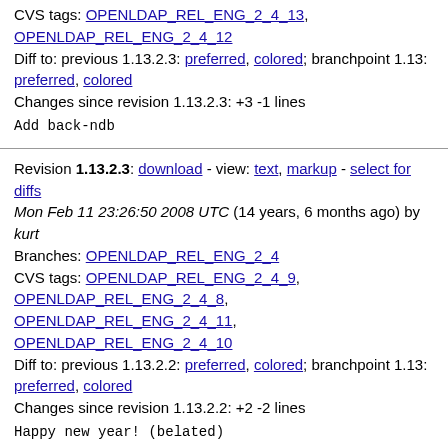CVS tags: OPENLDAP_REL_ENG_2_4_13, OPENLDAP_REL_ENG_2_4_12
Diff to: previous 1.13.2.3: preferred, colored; branchpoint 1.13: preferred, colored
Changes since revision 1.13.2.3: +3 -1 lines
Add back-ndb
Revision 1.13.2.3: download - view: text, markup - select for diffs
Mon Feb 11 23:26:50 2008 UTC (14 years, 6 months ago) by kurt
Branches: OPENLDAP_REL_ENG_2_4
CVS tags: OPENLDAP_REL_ENG_2_4_9, OPENLDAP_REL_ENG_2_4_8, OPENLDAP_REL_ENG_2_4_11, OPENLDAP_REL_ENG_2_4_10
Diff to: previous 1.13.2.2: preferred, colored; branchpoint 1.13: preferred, colored
Changes since revision 1.13.2.2: +2 -2 lines
Happy new year! (belated)
Revision 1.13.2.2: download - view: text, markup - select for diffs
Fri Aug 31 23:14:08 2007 UTC (15 years ago) by quanah
Branches: OPENLDAP_REL_ENG_2_4
CVS tags: OPENLDAP_REL_ENG_2_4_7, OPENLDAP_REL_ENG_2_4_6